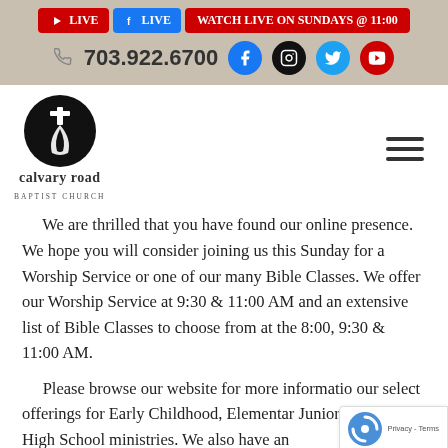[Figure (screenshot): Header bar with YouTube Live button, Facebook Live button, Watch Live on Sundays @ 11:00 button, phone number 703.922.6700, and social media icons for Facebook, Instagram, Twitter, YouTube]
[Figure (logo): Calvary Road Baptist Church logo — black circle with cross and road path, text 'calvary road BAPTIST CHURCH']
[Figure (other): Hamburger menu icon (three horizontal bars)]
We are thrilled that you have found our online presence. We hope you will consider joining us this Sunday for a Worship Service or one of our many Bible Classes. We offer our Worship Service at 9:30 & 11:00 AM and an extensive list of Bible Classes to choose from at the 8:00, 9:30 & 11:00 AM.
Please browse our website for more information our select offerings for Early Childhood, Elementary, Junior High, and High School ministries. We also have an